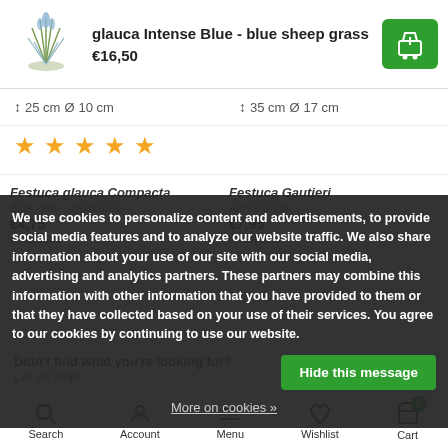glauca Intense Blue - blue sheep grass
€16,50
↕ 25 cm Ø 10 cm   ↕ 35 cm Ø 17 cm
[Figure (other): Five orange star rating icons]
Festuca glauca Compacta
Blue - blue sheep grass
€4,75
Available
Festuca Gautieri
Aurea Green
€7,95
Available
We use cookies to personalize content and advertisements, to provide social media features and to analyze our website traffic. We also share information about your use of our site with our social media, advertising and analytics partners. These partners may combine this information with other information that you have provided to them or that they have collected based on your use of their services. You agree to our cookies by continuing to use our website.
Hide this message
More on cookies »
Didn't find what you're looking for?
Let us help!
Search  Account  Menu  Wishlist  Cart